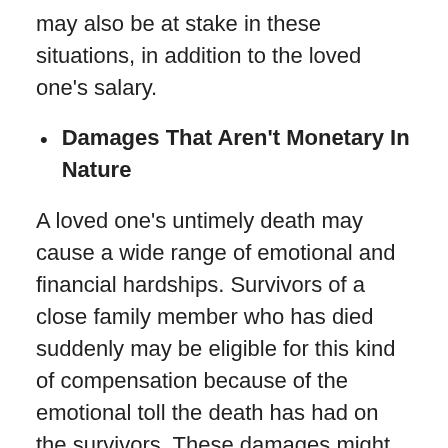may also be at stake in these situations, in addition to the loved one's salary.
Damages That Aren't Monetary In Nature
A loved one's untimely death may cause a wide range of emotional and financial hardships. Survivors of a close family member who has died suddenly may be eligible for this kind of compensation because of the emotional toll the death has had on the survivors. These damages might compensate for survivors' mental pain or the surviving spouse's loss of consortium.